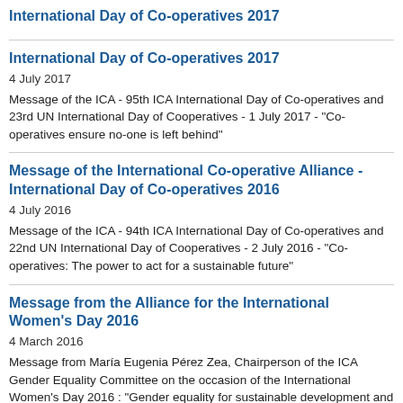International Day of Co-operatives 2017
4 July 2017
Message of the ICA - 95th ICA International Day of Co-operatives and 23rd UN International Day of Cooperatives - 1 July 2017 - "Co-operatives ensure no-one is left behind"
Message of the International Co-operative Alliance - International Day of Co-operatives 2016
4 July 2016
Message of the ICA - 94th ICA International Day of Co-operatives and 22nd UN International Day of Cooperatives - 2 July 2016 - "Co-operatives: The power to act for a sustainable future"
Message from the Alliance for the International Women's Day 2016
4 March 2016
Message from María Eugenia Pérez Zea, Chairperson of the ICA Gender Equality Committee on the occasion of the International Women's Day 2016 : "Gender equality for sustainable development and a better world".